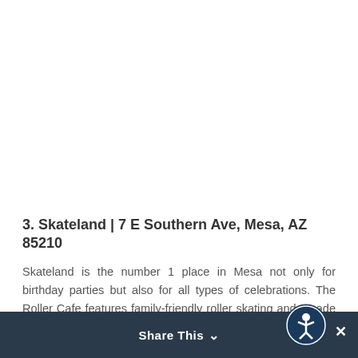[Figure (photo): Large white/blank image area occupying upper portion of page]
3. Skateland | 7 E Southern Ave, Mesa, AZ 85210
Skateland is the number 1 place in Mesa not only for birthday parties but also for all types of celebrations. The Roller Cafe features family-friendly roller skating and arcade games, with live DJs playing on both sound systems AND awesome prizes available every day.
Share This